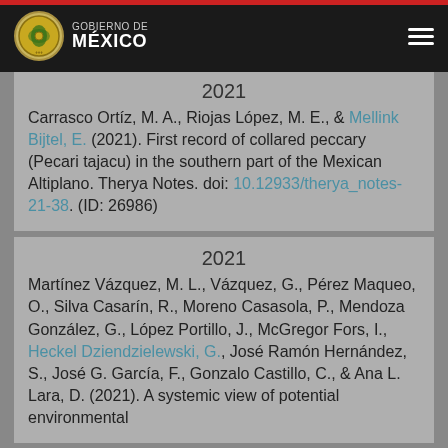GOBIERNO DE MÉXICO
2021
Carrasco Ortíz, M. A., Riojas López, M. E., & Mellink Bijtel, E. (2021). First record of collared peccary (Pecari tajacu) in the southern part of the Mexican Altiplano. Therya Notes. doi: 10.12933/therya_notes-21-38. (ID: 26986)
2021
Martínez Vázquez, M. L., Vázquez, G., Pérez Maqueo, O., Silva Casarín, R., Moreno Casasola, P., Mendoza González, G., López Portillo, J., McGregor Fors, I., Heckel Dziendzielewski, G., José Ramón Hernández, S., José G. García, F., Gonzalo Castillo, C., & Ana L. Lara, D. (2021). A systemic view of potential environmental